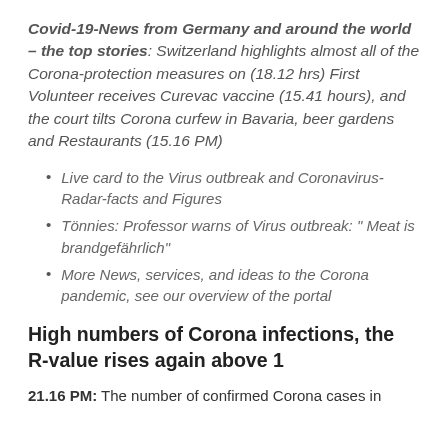Covid-19-News from Germany and around the world – the top stories: Switzerland highlights almost all of the Corona-protection measures on (18.12 hrs) First Volunteer receives Curevac vaccine (15.41 hours), and the court tilts Corona curfew in Bavaria, beer gardens and Restaurants (15.16 PM)
Live card to the Virus outbreak and Coronavirus-Radar-facts and Figures
Tönnies: Professor warns of Virus outbreak: " Meat is brandgefährlich"
More News, services, and ideas to the Corona pandemic, see our overview of the portal
High numbers of Corona infections, the R-value rises again above 1
21.16 PM: The number of confirmed Corona cases in